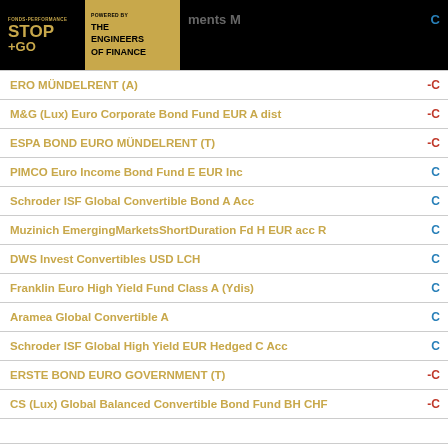STOP+GO | THE ENGINEERS OF FINANCE
| Fund Name | Value |
| --- | --- |
| ments M | C |
| ERO MÜNDELRENT (A) | -C |
| M&G (Lux) Euro Corporate Bond Fund EUR A dist | -C |
| ESPA BOND EURO MÜNDELRENT (T) | -C |
| PIMCO Euro Income Bond Fund E EUR Inc | C |
| Schroder ISF Global Convertible Bond A Acc | C |
| Muzinich EmergingMarketsShortDuration Fd H EUR acc R | C |
| DWS Invest Convertibles USD LCH | C |
| Franklin Euro High Yield Fund Class A (Ydis) | C |
| Aramea Global Convertible A | C |
| Schroder ISF Global High Yield EUR Hedged C Acc | C |
| ERSTE BOND EURO GOVERNMENT (T) | -C |
| CS (Lux) Global Balanced Convertible Bond Fund BH CHF | -C |